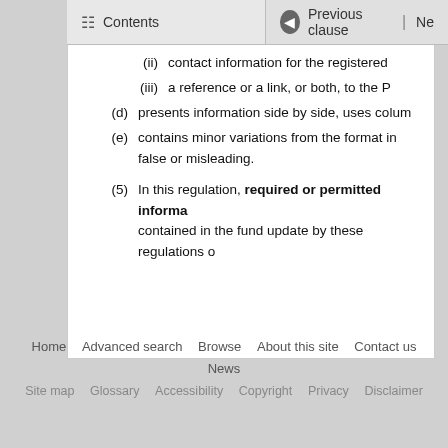Contents | Previous clause | Ne
(ii) contact information for the registered
(iii) a reference or a link, or both, to the P
(d) presents information side by side, uses colum
(e) contains minor variations from the format in false or misleading.
(5) In this regulation, required or permitted informa contained in the fund update by these regulations o
Home  Advanced search  Browse  About this site  Contact us  News
Site map  Glossary  Accessibility  Copyright  Privacy  Disclaimer